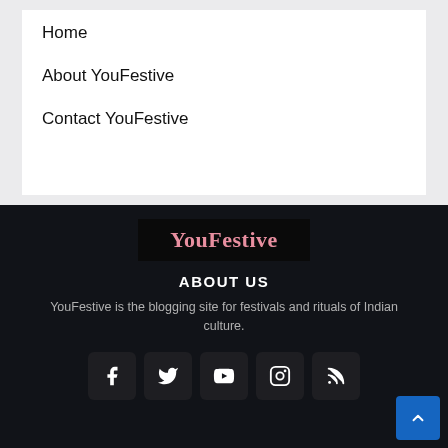Home
About YouFestive
Contact YouFestive
YouFestive
ABOUT US
YouFestive is the blogging site for festivals and rituals of Indian culture.
[Figure (infographic): Social media icons: Facebook, Twitter, YouTube, Instagram, RSS feed]